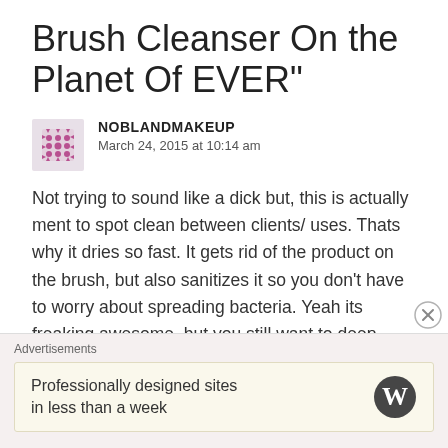Brush Cleanser On the Planet Of EVER"
NOBLANDMAKEUP
March 24, 2015 at 10:14 am
Not trying to sound like a dick but, this is actually ment to spot clean between clients/ uses. Thats why it dries so fast. It gets rid of the product on the brush, but also sanitizes it so you don't have to worry about spreading bacteria. Yeah its freaking awesome, but you still want to deep clean your brushes every once in a while to fully clean them, and also keep them conditioned since that's pretty
Advertisements
Professionally designed sites in less than a week